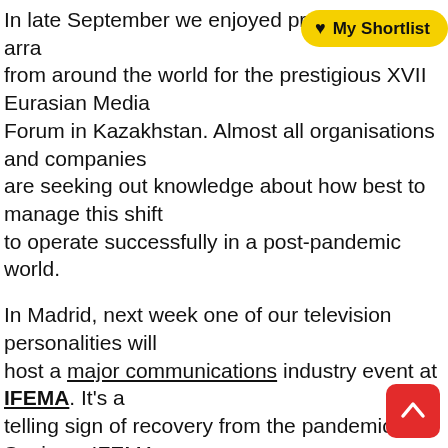In late September we enjoyed providing an array of speakers from around the world for the prestigious XVII Eurasian Media Forum in Kazakhstan. Almost all organisations and companies are seeking out knowledge about how best to manage this shift to operate successfully in a post-pandemic world.
In Madrid, next week one of our television personalities will host a major communications industry event at IFEMA. It's a telling sign of recovery from the pandemic in Spain as IFEMA was temporarily transformed into a vast hospital at the height of the outbreak.
Post-covid trending speaking topics that include; post-pandemic working, hybrid leadership and how to work from home is not new. These are requirements by leaders of teams that have existed throughout history, albeit the scale this time around is much greater and all-consuming. Encouraging productivity and returning output to former levels and beyond is